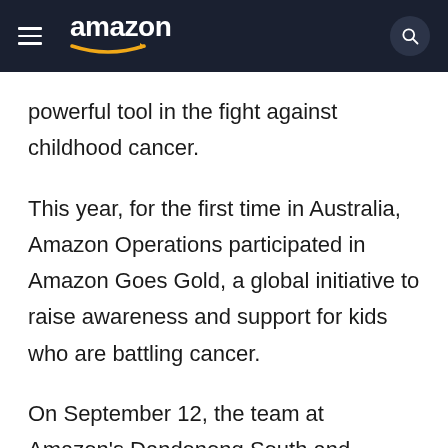amazon
powerful tool in the fight against childhood cancer.
This year, for the first time in Australia, Amazon Operations participated in Amazon Goes Gold, a global initiative to raise awareness and support for kids who are battling cancer.
On September 12, the team at Amazon’s Dandenong South and Moorebank Fulfilment Centres came to work dressed in their PJs for the